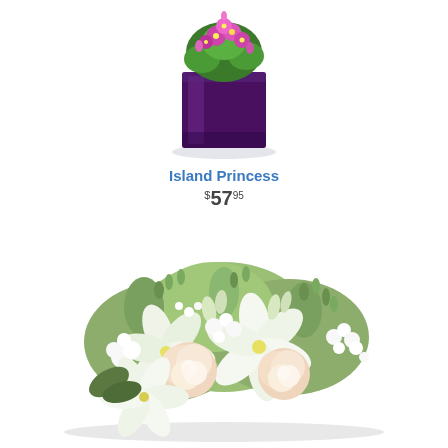[Figure (photo): Island Princess flower arrangement: pink/purple orchid-like flowers in a dark purple square vase, photographed on white background with subtle shadow]
Island Princess
$57.95
[Figure (photo): Low white and cream floral bouquet arrangement with peach roses, white lilies, white stock flowers, and green buds, photographed on white background]